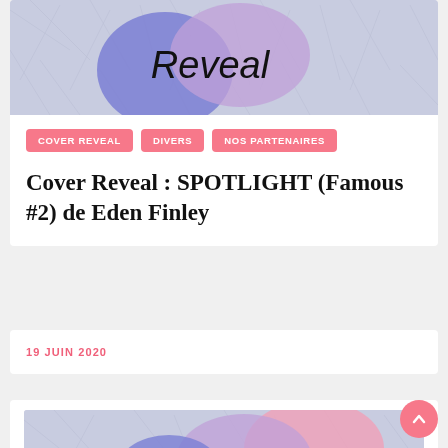[Figure (illustration): Cover reveal banner image with 'Reveal' handwritten text on a frosty/feathery background with blue and purple blobs]
COVER REVEAL
DIVERS
NOS PARTENAIRES
Cover Reveal : SPOTLIGHT (Famous #2) de Eden Finley
19 JUIN 2020
[Figure (illustration): Another cover reveal banner image with 'Cover' handwritten text on a frosty background with pink and purple blobs]